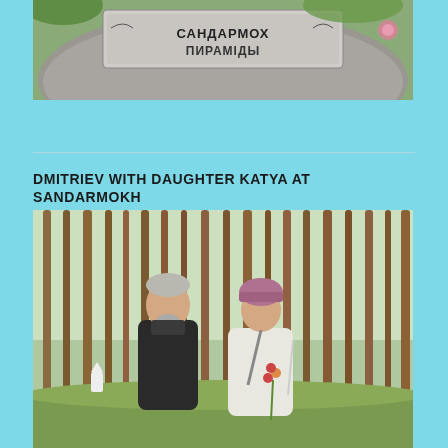[Figure (photo): Top portion of a stone monument with a sign bearing Cyrillic text, surrounded by greenery and a small pink flower visible on the right.]
DMITRIEV WITH DAUGHTER KATYA AT SANDARMOKH
[Figure (photo): A man with grey hair and beard wearing a dark jacket stands next to a younger woman in a white jacket and pink/mauve knit hat holding flowers, in a pine forest at Sandarmokh memorial site.]